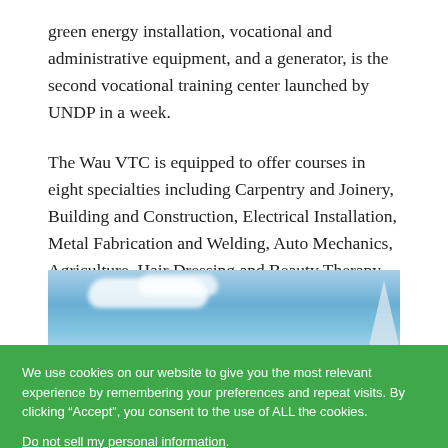green energy installation, vocational and administrative equipment, and a generator, is the second vocational training center launched by UNDP in a week.
The Wau VTC is equipped to offer courses in eight specialties including Carpentry and Joinery, Building and Construction, Electrical Installation, Metal Fabrication and Welding, Auto Mechanics, Agriculture, Hair Dressing and Beauty Therapy, and Tailoring and Fashion Design.
[Figure (photo): A partial photo showing a blue sky with clouds and a light-colored triangular architectural element visible at the right edge.]
We use cookies on our website to give you the most relevant experience by remembering your preferences and repeat visits. By clicking “Accept”, you consent to the use of ALL the cookies. Do not sell my personal information.